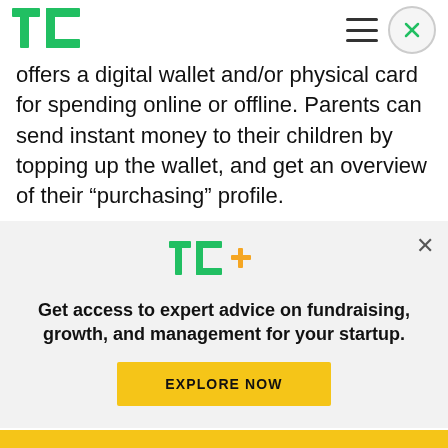TechCrunch header with logo, hamburger menu, and close button
offers a digital wallet and/or physical card for spending online or offline. Parents can send instant money to their children by topping up the wallet, and get an overview of their “purchasing” profile.
In turn, the idea is that children gain a degree of financial independence by using Mitto, as well as a better understanding of their spending habits. M...
[Figure (logo): TC+ logo (TechCrunch Plus) in green with a plus sign in yellow/orange]
Get access to expert advice on fundraising, growth, and management for your startup.
EXPLORE NOW